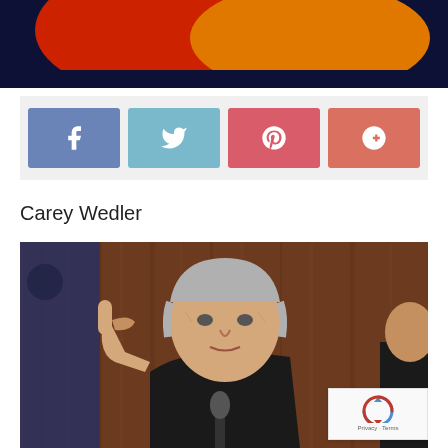[Figure (illustration): Top banner image with dark navy background showing red and orange abstract shapes or logo elements]
[Figure (infographic): Social media sharing buttons row: Facebook (blue), Twitter (light blue), Pinterest (red/pink), Google+ (salmon/coral)]
Carey Wedler
[Figure (photo): Photo of an elderly man with grey hair, wearing a dark suit and tie, raising one finger while speaking at what appears to be a congressional hearing or official event. A microphone is visible in front of him. There is a reCAPTCHA badge overlay in the bottom right corner.]